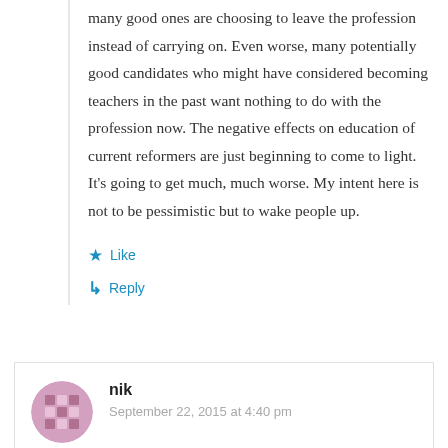many good ones are choosing to leave the profession instead of carrying on. Even worse, many potentially good candidates who might have considered becoming teachers in the past want nothing to do with the profession now. The negative effects on education of current reformers are just beginning to come to light. It's going to get much, much worse. My intent here is not to be pessimistic but to wake people up.
★ Like
↳ Reply
nik
September 22, 2015 at 4:40 pm